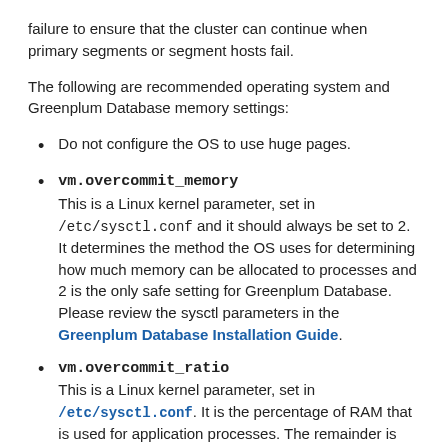failure to ensure that the cluster can continue when primary segments or segment hosts fail.
The following are recommended operating system and Greenplum Database memory settings:
Do not configure the OS to use huge pages.
vm.overcommit_memory
This is a Linux kernel parameter, set in /etc/sysctl.conf and it should always be set to 2. It determines the method the OS uses for determining how much memory can be allocated to processes and 2 is the only safe setting for Greenplum Database. Please review the sysctl parameters in the Greenplum Database Installation Guide.
vm.overcommit_ratio
This is a Linux kernel parameter, set in /etc/sysctl.conf. It is the percentage of RAM that is used for application processes. The remainder is